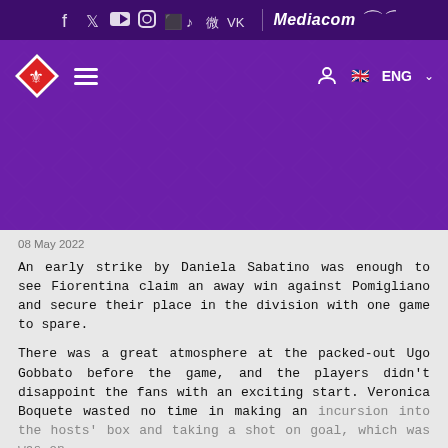[Figure (screenshot): Fiorentina website header with purple background, social media icons, Mediacom and Kappa sponsor logos, navigation bar with diamond logo, hamburger menu, user icon, and ENG language selector]
08 May 2022
An early strike by Daniela Sabatino was enough to see Fiorentina claim an away win against Pomigliano and secure their place in the division with one game to spare.
There was a great atmosphere at the packed-out Ugo Gobbato before the game, and the players didn't disappoint the fans with an exciting start. Veronica Boquete wasted no time in making an incursion into the hosts' box and taking a shot on goal, which was [Sabatino] was on
A subsequent downpour made conditions tricky for both sides and while there were chances for Pomigliano to find an equaliser and for Fiorentina to put the game out of sight there were to be no further goals.
Fiorentina hung on for the win and celebrate having survived in the
This site only uses technical session cookies and anonymous google analytics - Cookie Policy
I Understand | Decline